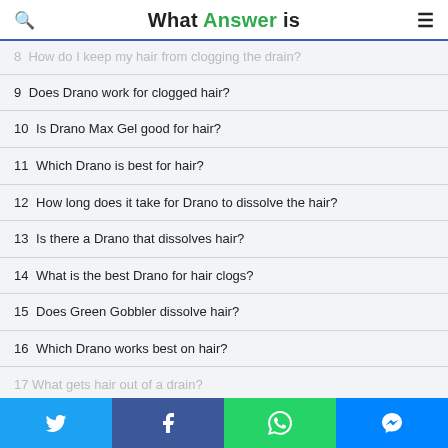What Answer is
8  How do I keep my hair from clogging the drain?
9  Does Drano work for clogged hair?
10  Is Drano Max Gel good for hair?
11  Which Drano is best for hair?
12  How long does it take for Drano to dissolve the hair?
13  Is there a Drano that dissolves hair?
14  What is the best Drano for hair clogs?
15  Does Green Gobbler dissolve hair?
16  Which Drano works best on hair?
17  What gets hair out of a drain?
Twitter | Facebook | WhatsApp | Messenger